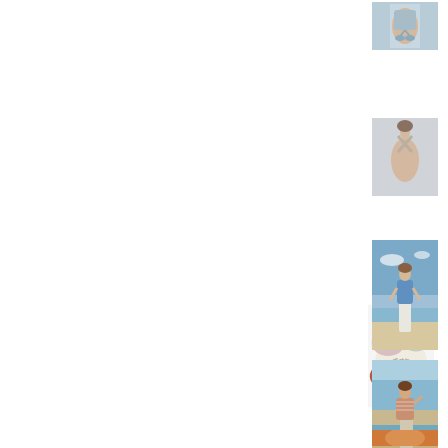[Figure (photo): Back view of person wearing a light blue tied top, cropped at waist]
[Figure (photo): Back view of person wearing a halter top with crossed straps, light background]
[Figure (illustration): Color palette swatches showing off-white, dusty pink, mint green, burnt orange/terracotta, and dusty blue overlapping oval shapes]
[Figure (photo): Woman in light blue sleeveless top and white pants standing on a beach]
[Figure (photo): Woman in striped/printed top standing on a sunny beach]
[Figure (photo): Person in orange/warm toned clothing, partial view, bright outdoor setting]